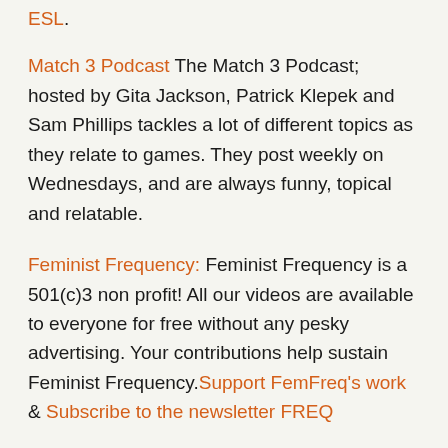ESL.
Match 3 Podcast The Match 3 Podcast; hosted by Gita Jackson, Patrick Klepek and Sam Phillips tackles a lot of different topics as they relate to games. They post weekly on Wednesdays, and are always funny, topical and relatable.
Feminist Frequency: Feminist Frequency is a 501(c)3 non profit! All our videos are available to everyone for free without any pesky advertising. Your contributions help sustain Feminist Frequency. Support FemFreq's work & Subscribe to the newsletter FREQ